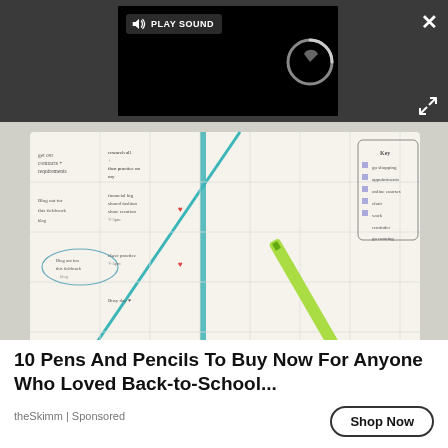[Figure (screenshot): Dark video player bar with a black video player area in the center showing a loading spinner, a 'PLAY SOUND' button with speaker icon, a close (X) button top right, and an expand button bottom right.]
[Figure (photo): Photo of an open weekly planner/bullet journal with handwritten notes and a green pen resting on it.]
10 Pens And Pencils To Buy Now For Anyone Who Loved Back-to-School...
theSkimm | Sponsored
Shop Now